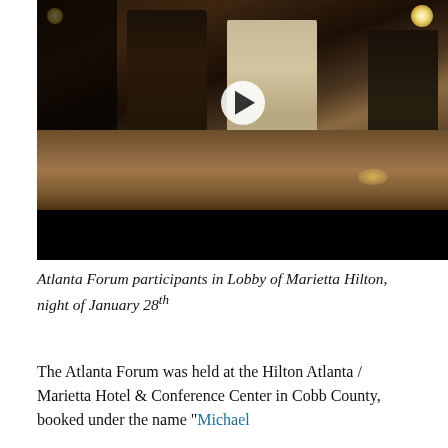[Figure (photo): Video still/thumbnail showing people standing in the lobby of the Marietta Hilton hotel at night. A video play button (white circle with triangle) is overlaid at center. The lower portion of the thumbnail is a black bar.]
Atlanta Forum participants in Lobby of Marietta Hilton, night of January 28th
The Atlanta Forum was held at the Hilton Atlanta / Marietta Hotel & Conference Center in Cobb County, booked under the name “Michael